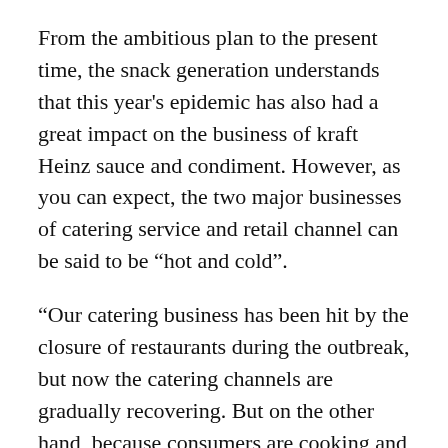From the ambitious plan to the present time, the snack generation understands that this year's epidemic has also had a great impact on the business of kraft Heinz sauce and condiment. However, as you can expect, the two major businesses of catering service and retail channel can be said to be “hot and cold”.
“Our catering business has been hit by the closure of restaurants during the outbreak, but now the catering channels are gradually recovering. But on the other hand, because consumers are cooking and eating more at home, our retail business is growing very well.” Rodrigo told the snack generation.
As a result, the company now faces two challenges, he said. First, how to get its catering service business back on track in the post-